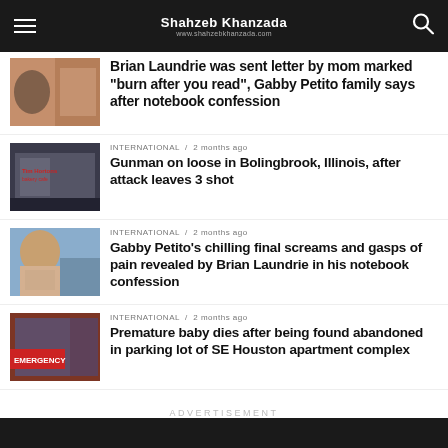Shahzeb Khanzada / www.shahzebkhanzada.com
Brian Laundrie was sent letter by mom marked "burn after you read", Gabby Petito family says after notebook confession
INTERNATIONAL / 2 months ago
Gunman on loose in Bolingbrook, Illinois, after attack leaves 3 shot
INTERNATIONAL / 2 months ago
Gabby Petito's chilling final screams and gasps of pain revealed by Brian Laundrie in his notebook confession
INTERNATIONAL / 2 months ago
Premature baby dies after being found abandoned in parking lot of SE Houston apartment complex
ADVERTISEMENT